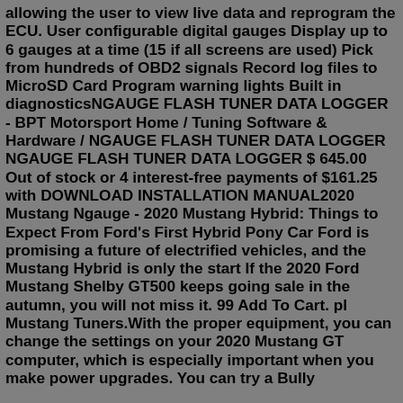allowing the user to view live data and reprogram the ECU. User configurable digital gauges Display up to 6 gauges at a time (15 if all screens are used) Pick from hundreds of OBD2 signals Record log files to MicroSD Card Program warning lights Built in diagnosticsNGAUGE FLASH TUNER DATA LOGGER - BPT Motorsport Home / Tuning Software & Hardware / NGAUGE FLASH TUNER DATA LOGGER NGAUGE FLASH TUNER DATA LOGGER $ 645.00 Out of stock or 4 interest-free payments of $161.25 with DOWNLOAD INSTALLATION MANUAL2020 Mustang Ngauge - 2020 Mustang Hybrid: Things to Expect From Ford's First Hybrid Pony Car Ford is promising a future of electrified vehicles, and the Mustang Hybrid is only the start If the 2020 Ford Mustang Shelby GT500 keeps going sale in the autumn, you will not miss it. 99 Add To Cart. pl Mustang Tuners.With the proper equipment, you can change the settings on your 2020 Mustang GT computer, which is especially important when you make power upgrades. You can try a Bully